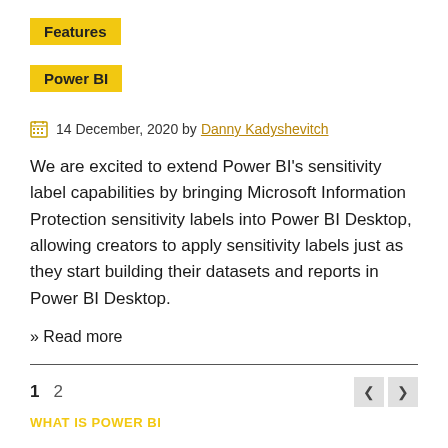Features
Power BI
14 December, 2020 by Danny Kadyshevitch
We are excited to extend Power BI’s sensitivity label capabilities by bringing Microsoft Information Protection sensitivity labels into Power BI Desktop, allowing creators to apply sensitivity labels just as they start building their datasets and reports in Power BI Desktop.
» Read more
1  2
WHAT IS POWER BI